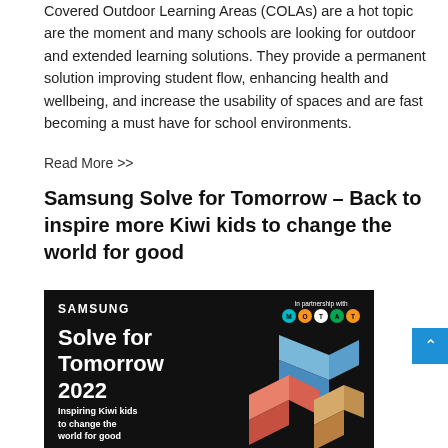Covered Outdoor Learning Areas (COLAs) are a hot topic are the moment and many schools are looking for outdoor and extended learning solutions. They provide a permanent solution improving student flow, enhancing health and wellbeing, and increase the usability of spaces and are fast becoming a must have for school environments.
Read More >>
Samsung Solve for Tomorrow – Back to inspire more Kiwi kids to change the world for good
[Figure (photo): Samsung Solve for Tomorrow 2022 promotional image on black background. Left side shows Samsung logo and text 'Solve for Tomorrow 2022 – Inspiring Kiwi kids to change the world for good'. Top right shows 'In partnership with MOTAT' with colorful circular letter icons. Right side shows 3D isometric colored blocks in blue, coral/red, and tan/gold.]